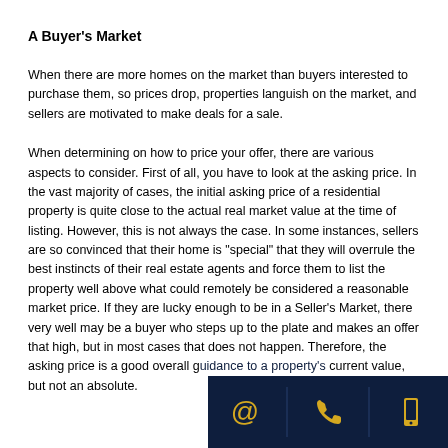A Buyer's Market
When there are more homes on the market than buyers interested to purchase them, so prices drop, properties languish on the market, and sellers are motivated to make deals for a sale.
When determining on how to price your offer, there are various aspects to consider. First of all, you have to look at the asking price. In the vast majority of cases, the initial asking price of a residential property is quite close to the actual real market value at the time of listing. However, this is not always the case. In some instances, sellers are so convinced that their home is "special" that they will overrule the best instincts of their real estate agents and force them to list the property well above what could remotely be considered a reasonable market price. If they are lucky enough to be in a Seller's Market, there very well may be a buyer who steps up to the plate and makes an offer that high, but in most cases that does not happen. Therefore, the asking price is a good overall guide to a property's current value, but not an absolute.
[Figure (infographic): Dark navy bottom-right bar with three gold icons: @ symbol, phone handset, and mobile phone, separated by dividers]